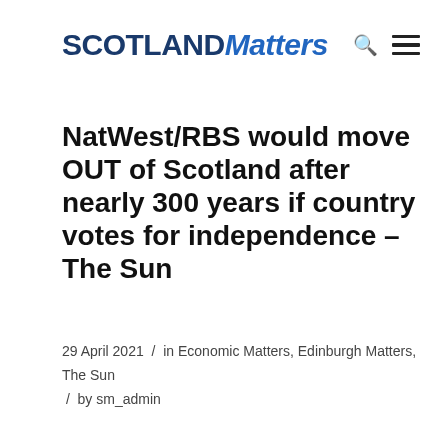SCOTLAND Matters
NatWest/RBS would move OUT of Scotland after nearly 300 years if country votes for independence – The Sun
29 April 2021  /  in Economic Matters, Edinburgh Matters, The Sun  /  by sm_admin